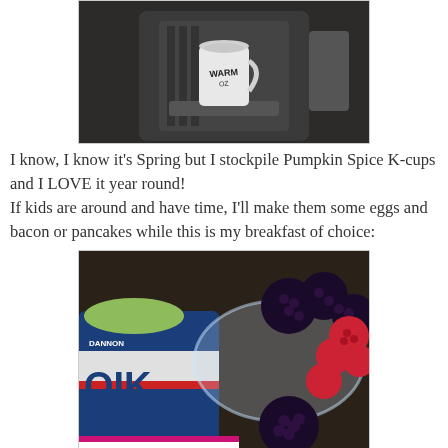[Figure (photo): A white ceramic mug with 'WARM' written on it placed inside a Keurig coffee machine on a granite countertop.]
I know, I know it's Spring but I stockpile Pumpkin Spice K-cups and I LOVE it year round!
If kids are around and have time, I'll make them some eggs and bacon or pancakes while this is my breakfast of choice:
[Figure (photo): A bowl of fresh blackberries and raspberries next to a container of Dannon Oikos Greek yogurt with green yogurt visible.]